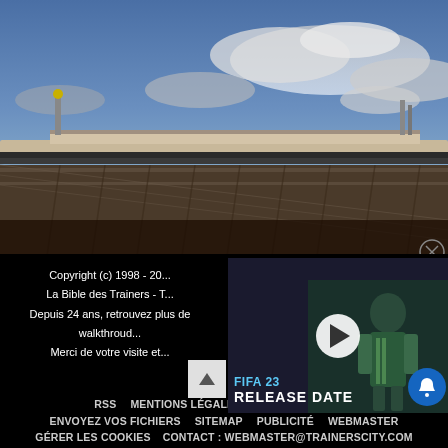[Figure (screenshot): FIFA 23 video thumbnail overlay on bottom right showing FIFA 23 RELEASE DATE with a football player and play button, overlaid on stadium background image]
Copyright (c) 1998 - 2... La Bible des Trainers - T... Depuis 24 ans, retrouvez plus de... walkthroud... Merci de votre visite et...
RSS   MENTIONS LÉGALES   AVERTISSEMENTS   ENVOYEZ VOS FICHIERS   SITEMAP   PUBLICITÉ   WEBMASTER   GÉRER LES COOKIES   CONTACT : WEBMASTER@TRAINERSCITY.COM